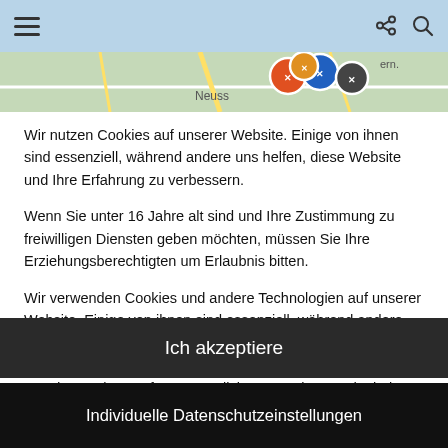≡  [share] [search]
[Figure (screenshot): Map strip showing Neuss area with colorful circular icons overlay]
Wir nutzen Cookies auf unserer Website. Einige von ihnen sind essenziell, während andere uns helfen, diese Website und Ihre Erfahrung zu verbessern.
Wenn Sie unter 16 Jahre alt sind und Ihre Zustimmung zu freiwilligen Diensten geben möchten, müssen Sie Ihre Erziehungsberechtigten um Erlaubnis bitten.
Wir verwenden Cookies und andere Technologien auf unserer Website. Einige von ihnen sind essenziell, während andere uns helfen, diese Website und Ihre Erfahrung zu verbessern. Personenbezogene Daten können verarbeitet werden (z. B. IP-Adressen), z. B. für personalisierte Anzeigen und Inhalte oder
Ich akzeptiere
Individuelle Datenschutzeinstellungen